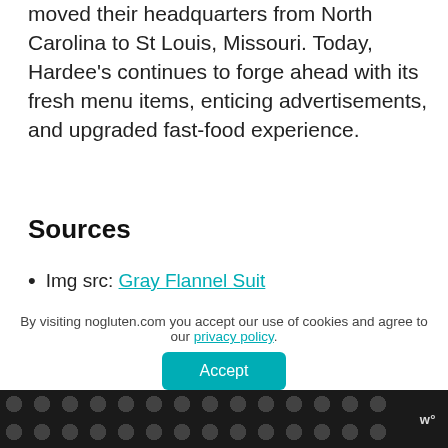moved their headquarters from North Carolina to St Louis, Missouri. Today, Hardee's continues to forge ahead with its fresh menu items, enticing advertisements, and upgraded fast-food experience.
Sources
Img src: Gray Flannel Suit
By visiting nogluten.com you accept our use of cookies and agree to our privacy policy.
Accept
Wikipedia